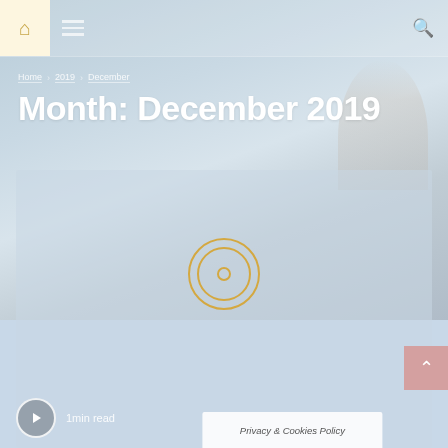[Figure (screenshot): Website screenshot showing a blog archive page for December 2019 with a scenic ocean/beach background image and navigation elements]
Home · 2019 · December
Month: December 2019
[Figure (other): Circular play button with concentric rings in gold/amber color overlaid on ocean image]
1min read
Privacy & Cookies Policy